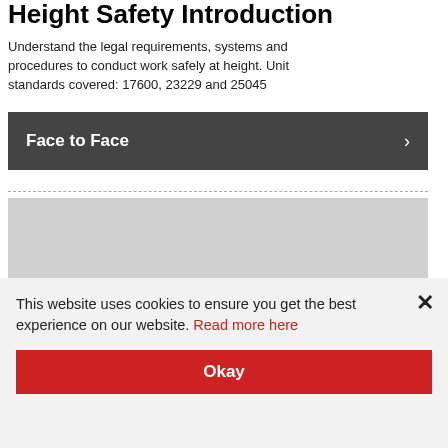Height Safety Introduction
Understand the legal requirements, systems and procedures to conduct work safely at height. Unit standards covered: 17600, 23229 and 25045
Face to Face
[Figure (other): Gray loading placeholder box with 'Loading...' text]
This website uses cookies to ensure you get the best experience on our website. Read more here
Okay